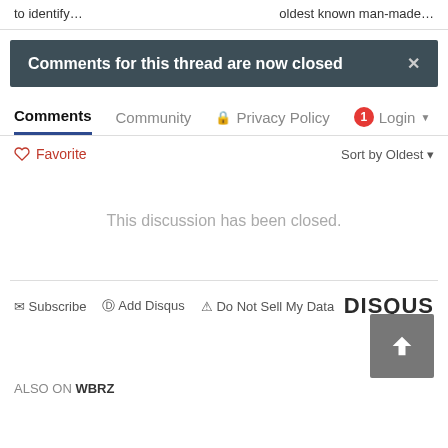to identify…
oldest known man-made…
Comments for this thread are now closed
Comments | Community | Privacy Policy | Login | Favorite | Sort by Oldest
This discussion has been closed.
Subscribe | Add Disqus | Do Not Sell My Data | DISQUS
ALSO ON WBRZ